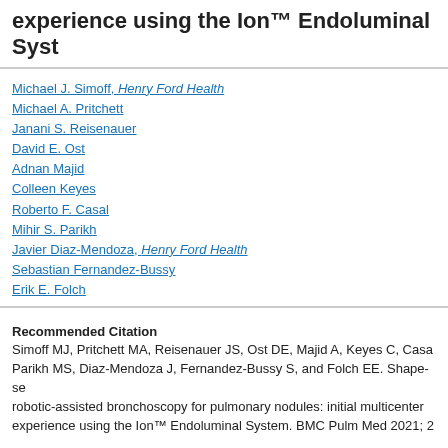experience using the Ion™ Endoluminal System
Michael J. Simoff, Henry Ford Health
Michael A. Pritchett
Janani S. Reisenauer
David E. Ost
Adnan Majid
Colleen Keyes
Roberto F. Casal
Mihir S. Parikh
Javier Diaz-Mendoza, Henry Ford Health
Sebastian Fernandez-Bussy
Erik E. Folch
Recommended Citation
Simoff MJ, Pritchett MA, Reisenauer JS, Ost DE, Majid A, Keyes C, Casal RF, Parikh MS, Diaz-Mendoza J, Fernandez-Bussy S, and Folch EE. Shape-sensing robotic-assisted bronchoscopy for pulmonary nodules: initial multicenter experience using the Ion™ Endoluminal System. BMC Pulm Med 2021; 2
Document Type
Article
Publication Date
10-16-2021